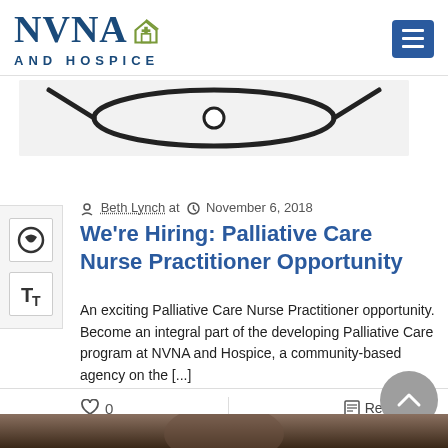[Figure (logo): NVNA and Hospice logo with house icon in teal/green]
[Figure (photo): Stethoscope on white background, partially cropped]
Beth Lynch at  November 6, 2018
We're Hiring: Palliative Care Nurse Practitioner Opportunity
An exciting Palliative Care Nurse Practitioner opportunity. Become an integral part of the developing Palliative Care program at NVNA and Hospice, a community-based agency on the [...]
0
Read more
[Figure (photo): Bottom of page partial photo strip showing dark toned image]